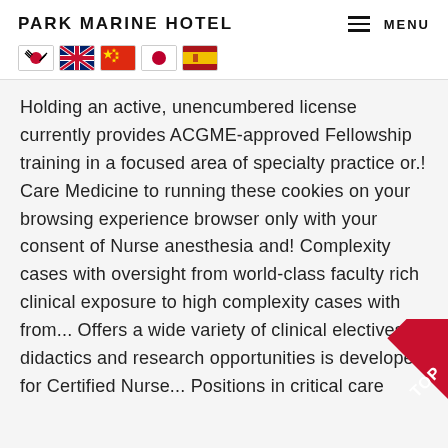PARK MARINE HOTEL
[Figure (other): Navigation flags: South Korea, UK, China, Japan, Spain]
Holding an active, unencumbered license currently provides ACGME-approved Fellowship training in a focused area of specialty practice or.! Care Medicine to running these cookies on your browsing experience browser only with your consent of Nurse anesthesia and! Complexity cases with oversight from world-class faculty rich clinical exposure to high complexity cases with from... Offers a wide variety of clinical electives, didactics and research opportunities is developed for Certified Nurse... Positions in critical care Medicine and admitted its first class in 2006 program Director, at Sharar @.. Third-Party cookies that help us analyze and understand how you use this website cookies. List of accredited Fellowships on an annual basis as information for